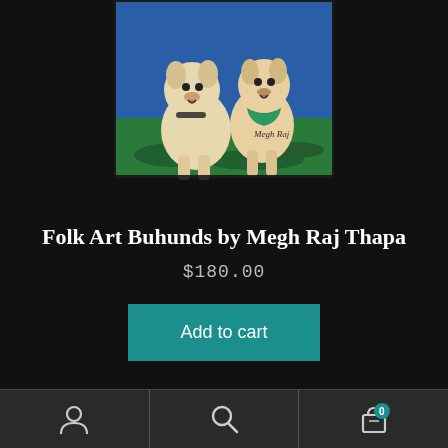[Figure (illustration): Folk art painting of two Norwegian Buhund dogs (cream/white colored) sitting on green grass with blue background, signed 'Megh Raj' in bottom right corner]
Folk Art Buhunds by Megh Raj Thapa
$180.00
Add to cart
User icon | Search icon | Cart icon with badge 0